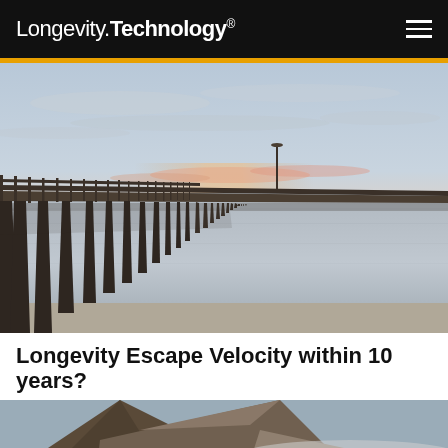Longevity.Technology®
[Figure (photo): Long exposure photograph of a pier extending into calm water at dusk/sunset with pink sky and lamp post]
Longevity Escape Velocity within 10 years?
Agetech
[Figure (photo): Aerial photo of mountains with fog and an orange overlay box with bar chart icon]